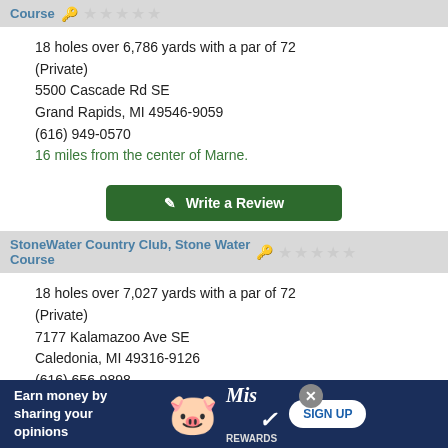Course
18 holes over 6,786 yards with a par of 72 (Private)
5500 Cascade Rd SE
Grand Rapids, MI 49546-9059
(616) 949-0570
16 miles from the center of Marne.
Write a Review
StoneWater Country Club, Stone Water Course
18 holes over 7,027 yards with a par of 72 (Private)
7177 Kalamazoo Ave SE
Caledonia, MI 49316-9126
(616) 656-9898
17 miles from the center of Marne.
Write a Review
[Figure (infographic): Advertisement banner: Earn money by sharing your opinions. Miss Rewards. Sign Up button.]